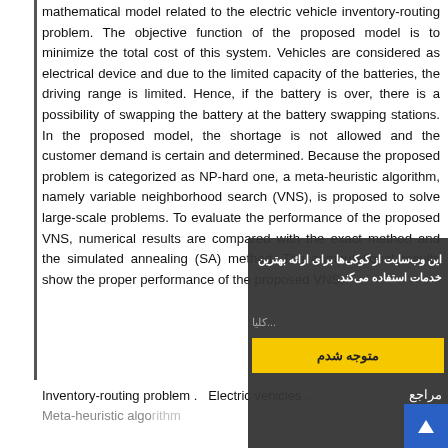mathematical model related to the electric vehicle inventory-routing problem. The objective function of the proposed model is to minimize the total cost of this system. Vehicles are considered as electrical device and due to the limited capacity of the batteries, the driving range is limited. Hence, if the battery is over, there is a possibility of swapping the battery at the battery swapping stations. In the proposed model, the shortage is not allowed and the customer demand is certain and determined. Because the proposed problem is categorized as NP-hard one, a meta-heuristic algorithm, namely variable neighborhood search (VNS), is proposed to solve large-scale problems. To evaluate the performance of the proposed VNS, numerical results are compared with the exact method and the simulated annealing (SA) method. The computational results show the proper performance of the proposed VNS.
Inventory-routing problem . Electric vehicles .
Meta-heuristic algorithm
[Figure (other): Cookie consent overlay in Persian (Farsi) with dark background, text about cookies, a yellow 'متوجه شدم' (I understand) button, and a blue arrow-up scroll button]